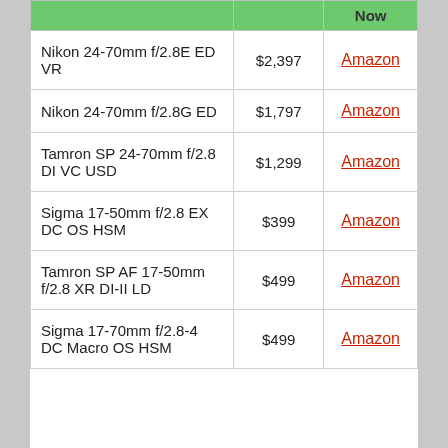|  |  | Now |
| --- | --- | --- |
| Nikon 24-70mm f/2.8E ED VR | $2,397 | Amazon |
| Nikon 24-70mm f/2.8G ED | $1,797 | Amazon |
| Tamron SP 24-70mm f/2.8 DI VC USD | $1,299 | Amazon |
| Sigma 17-50mm f/2.8 EX DC OS HSM | $399 | Amazon |
| Tamron SP AF 17-50mm f/2.8 XR DI-II LD | $499 | Amazon |
| Sigma 17-70mm f/2.8-4 DC Macro OS HSM | $499 | Amazon |